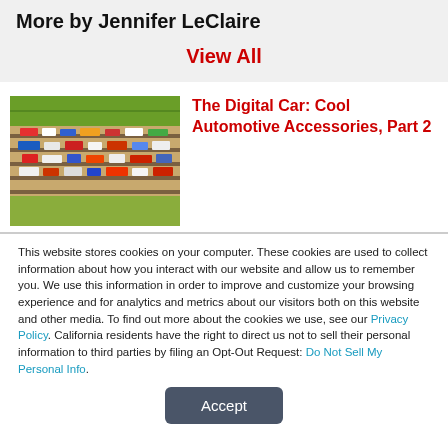More by Jennifer LeClaire
View All
[Figure (photo): Overhead view of vehicles or automotive accessories on tracks/shelves, colorful items visible from above]
The Digital Car: Cool Automotive Accessories, Part 2
This website stores cookies on your computer. These cookies are used to collect information about how you interact with our website and allow us to remember you. We use this information in order to improve and customize your browsing experience and for analytics and metrics about our visitors both on this website and other media. To find out more about the cookies we use, see our Privacy Policy. California residents have the right to direct us not to sell their personal information to third parties by filing an Opt-Out Request: Do Not Sell My Personal Info.
Accept